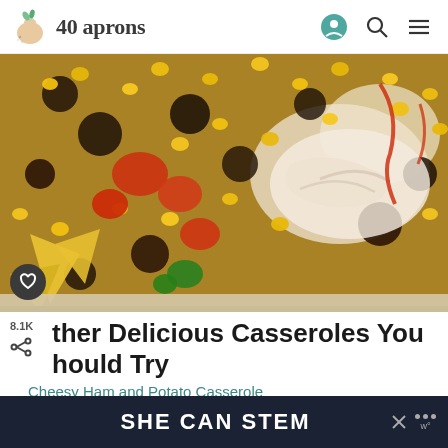40 aprons
[Figure (photo): Close-up photo of a casserole dish filled with corn, black beans, shredded chicken, tortilla chips, tomatoes, peppers, and melted cheese]
Other Delicious Casseroles You Should Try
Cheesy Ham and Potato Casserole
[Figure (infographic): SHE CAN STEM advertisement banner at the bottom of the page]